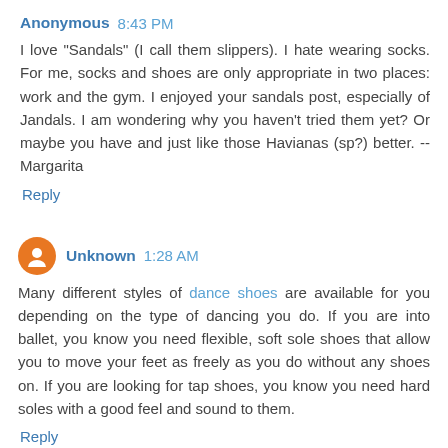Anonymous 8:43 PM
I love "Sandals" (I call them slippers). I hate wearing socks. For me, socks and shoes are only appropriate in two places: work and the gym. I enjoyed your sandals post, especially of Jandals. I am wondering why you haven't tried them yet? Or maybe you have and just like those Havianas (sp?) better. --Margarita
Reply
Unknown 1:28 AM
Many different styles of dance shoes are available for you depending on the type of dancing you do. If you are into ballet, you know you need flexible, soft sole shoes that allow you to move your feet as freely as you do without any shoes on. If you are looking for tap shoes, you know you need hard soles with a good feel and sound to them.
Reply